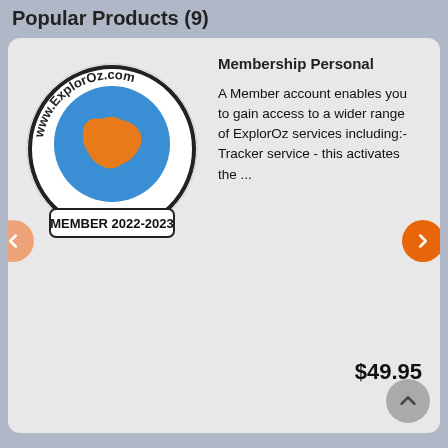Popular Products (9)
[Figure (logo): ExplorOz.com circular logo with orange Australia map on blue globe, text 'www.ExplorOz.com' around circle, 'MEMBER 2022-2023' at bottom]
Membership Personal
A Member account enables you to gain access to a wider range of ExplorOz services including:- Tracker service - this activates the ...
$49.95